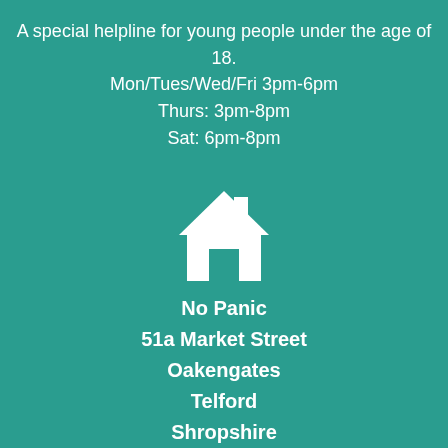A special helpline for young people under the age of 18.
Mon/Tues/Wed/Fri 3pm-6pm
Thurs: 3pm-8pm
Sat: 6pm-8pm
[Figure (illustration): White house icon on teal background]
No Panic
51a Market Street
Oakengates
Telford
Shropshire
TF2 6EL